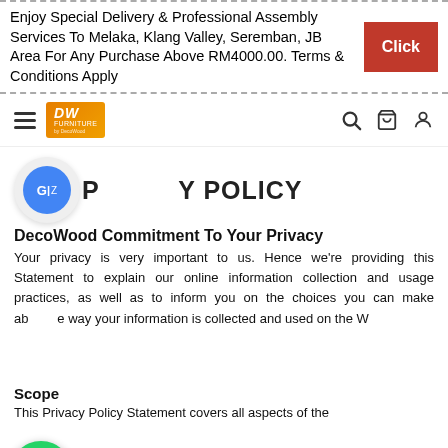Enjoy Special Delivery & Professional Assembly Services To Melaka, Klang Valley, Seremban, JB Area For Any Purchase Above RM4000.00. Terms & Conditions Apply
[Figure (screenshot): Red Click button in the banner]
[Figure (logo): DW Furniture logo with hamburger menu and navigation icons]
PRIVACY POLICY
DecoWood Commitment To Your Privacy
Your privacy is very important to us. Hence we're providing this Statement to explain our online information collection and usage practices, as well as to inform you on the choices you can make about the way your information is collected and used on the W...
Scope
This Privacy Policy Statement covers all aspects of the...